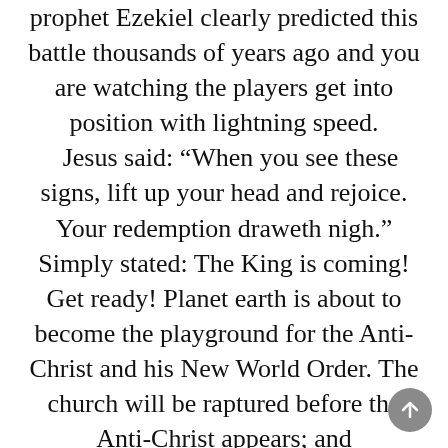prophet Ezekiel clearly predicted this battle thousands of years ago and you are watching the players get into position with lightning speed. Jesus said: “When you see these signs, lift up your head and rejoice. Your redemption draweth nigh.” Simply stated: The King is coming! Get ready! Planet earth is about to become the playground for the Anti-Christ and his New World Order. The church will be raptured before the Anti-Christ appears; and